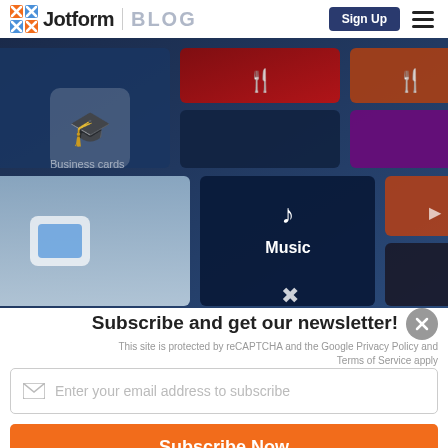Jotform | BLOG  Sign Up
[Figure (photo): Grid of app/website template tiles displayed on a screen, including categories like music, cooking, and others, shown at an angle with blue and red tones]
Subscribe and get our newsletter!
This site is protected by reCAPTCHA and the Google Privacy Policy and Terms of Service apply
Enter your email address to subscribe
Subscribe Now